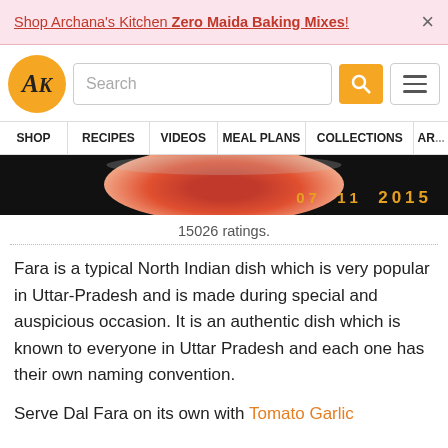Shop Archana's Kitchen Zero Maida Baking Mixes! ×
[Figure (logo): AK logo circle in orange with italic serif AK text]
Search
SHOP | RECIPES | VIDEOS | MEAL PLANS | COLLECTIONS | AR...
[Figure (photo): Food photo showing a red sauce/chutney in a bowl, dated 07 11 2015]
15026 ratings.
Fara is a typical North Indian dish which is very popular in Uttar-Pradesh and is made during special and auspicious occasion. It is an authentic dish which is known to everyone in Uttar Pradesh and each one has their own naming convention.
Serve Dal Fara on its own with Tomato Garlic